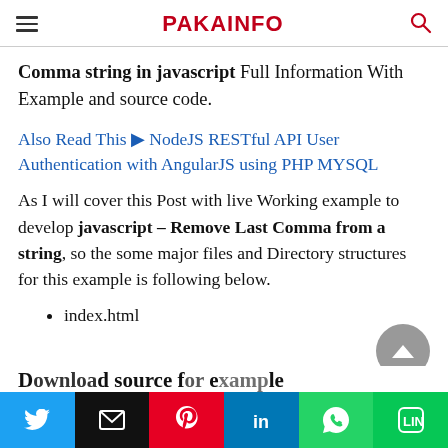PAKAINFO
Comma string in javascript Full Information With Example and source code.
Also Read This ▶ NodeJS RESTful API User Authentication with AngularJS using PHP MYSQL
As I will cover this Post with live Working example to develop javascript – Remove Last Comma from a string, so the some major files and Directory structures for this example is following below.
index.html